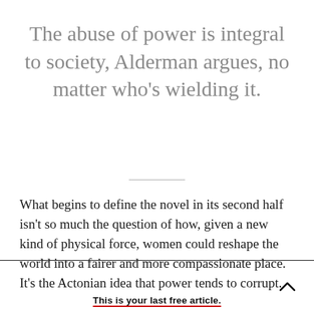The abuse of power is integral to society, Alderman argues, no matter who's wielding it.
What begins to define the novel in its second half isn't so much the question of how, given a new kind of physical force, women could reshape the world into a fairer and more compassionate place. It's the Actonian idea that power tends to corrupt.
This is your last free article.